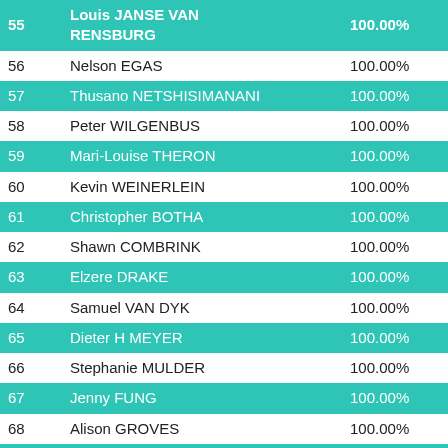| # | Name | Percentage |
| --- | --- | --- |
| 55 | Louis JANSE VAN RENSBURG | 100.00% |
| 56 | Nelson EGAS | 100.00% |
| 57 | Thusano NETSHISIMANANI | 100.00% |
| 58 | Peter WILGENBUS | 100.00% |
| 59 | Mari-Louise THERON | 100.00% |
| 60 | Kevin WEINERLEIN | 100.00% |
| 61 | Christopher BOTHA | 100.00% |
| 62 | Shawn COMBRINK | 100.00% |
| 63 | Elzere DRAKE | 100.00% |
| 64 | Samuel VAN DYK | 100.00% |
| 65 | Dieter H MEYER | 100.00% |
| 66 | Stephanie MULDER | 100.00% |
| 67 | Jenny FUNG | 100.00% |
| 68 | Alison GROVES | 100.00% |
| 69 | Bruce FORDYCE | 100.00% |
| 70 | Jenny SAUNDERS | 100.00% |
| 71 | Kobus VISSER | 100.00% |
| 72 | Willem OBBES | 100.00% |
| 73 | Nicholas MULDER | 100.00% |
| 74 | Pieter LOTTER | 100.00% |